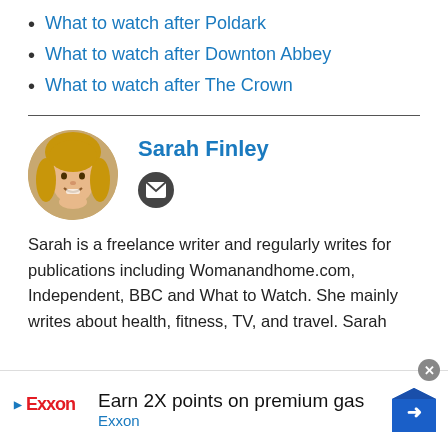What to watch after Poldark
What to watch after Downton Abbey
What to watch after The Crown
[Figure (photo): Circular headshot photo of Sarah Finley, a woman with blonde hair, smiling]
Sarah Finley
Sarah is a freelance writer and regularly writes for publications including Womanandhome.com, Independent, BBC and What to Watch. She mainly writes about health, fitness, TV, and travel. Sarah
[Figure (infographic): Exxon advertisement banner: 'Earn 2X points on premium gas Exxon' with Exxon logo and directional arrow sign]